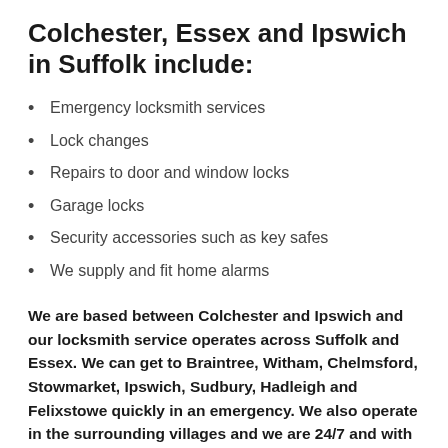Colchester, Essex and Ipswich in Suffolk include:
Emergency locksmith services
Lock changes
Repairs to door and window locks
Garage locks
Security accessories such as key safes
We supply and fit home alarms
We are based between Colchester and Ipswich and our locksmith service operates across Suffolk and Essex. We can get to Braintree, Witham, Chelmsford, Stowmarket, Ipswich, Sudbury, Hadleigh and Felixstowe quickly in an emergency. We also operate in the surrounding villages and we are 24/7 and with NO CALL OUT CHARGES. Call us on 0800 511 8202 or for Colchester and surrounding areas 01206 430267 and Ipswich 01473 396146 for your free lock